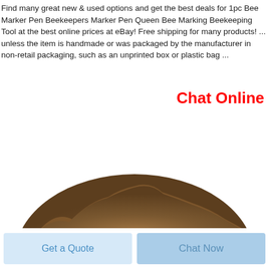Find many great new & used options and get the best deals for 1pc Bee Marker Pen Beekeepers Marker Pen Queen Bee Marking Beekeeping Tool at the best online prices at eBay! Free shipping for many products! ... unless the item is handmade or was packaged by the manufacturer in non-retail packaging, such as an unprinted box or plastic bag ...
Chat Online
[Figure (photo): A pile of brown powdery or granular material (possibly bee-related substance or pollen) photographed from above against a white background, showing only the top half of the mound.]
Get a Quote
Chat Now